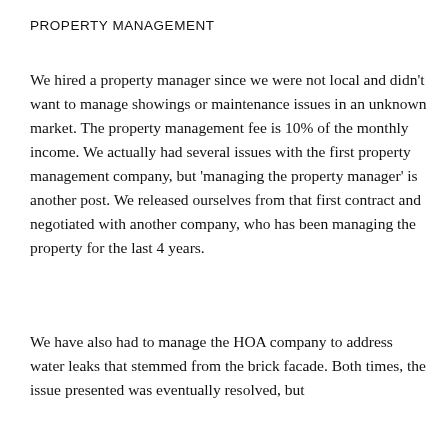PROPERTY MANAGEMENT
We hired a property manager since we were not local and didn't want to manage showings or maintenance issues in an unknown market. The property management fee is 10% of the monthly income. We actually had several issues with the first property management company, but ‘managing the property manager’ is another post. We released ourselves from that first contract and negotiated with another company, who has been managing the property for the last 4 years.
We have also had to manage the HOA company to address water leaks that stemmed from the brick facade. Both times, the issue presented was eventually resolved, but